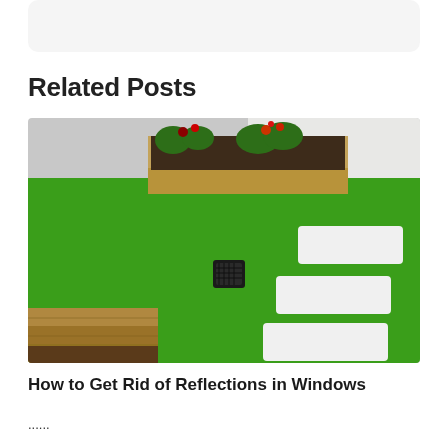[Figure (photo): Rounded card or image placeholder at the top of the page, light gray background]
Related Posts
[Figure (photo): Outdoor garden with bright green artificial turf lawn, wooden raised garden beds with red and white flowers, white rectangular stepping stones set into the grass, and a black drain cover in the center. Concrete paving visible at bottom edge. Modern backyard landscaping.]
How to Get Rid of Reflections in Windows
...